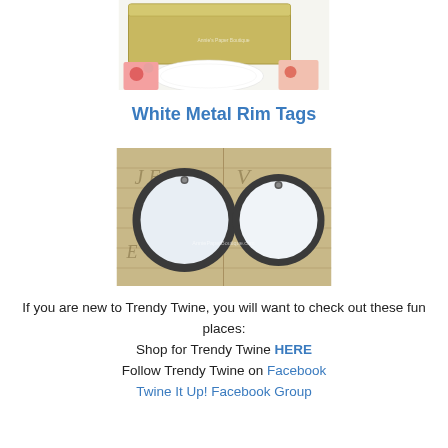[Figure (photo): Photo of a gold/metallic tin box with a floral paper and white doily, watermarked 'Annie's Paper Boutique']
White Metal Rim Tags
[Figure (photo): Photo of two white metal rim round tags with small holes at top, placed on a ruler/vintage paper background, watermarked 'AnniePaperBoutique.com']
If you are new to Trendy Twine, you will want to check out these fun places:
Shop for Trendy Twine HERE
Follow Trendy Twine on Facebook
Twine It Up! Facebook Group